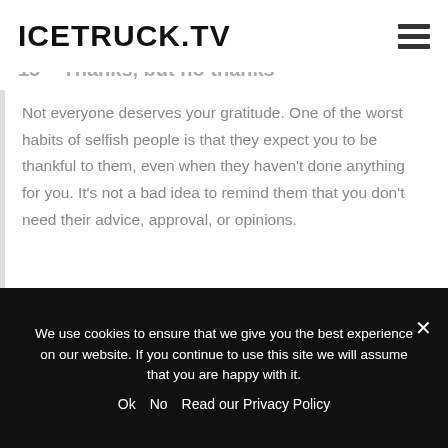ICETRUCK.TV
15 – Thanks, but no thanks
Not everyone deserves your gratitude. One of the worst habits of selfish people is that they expect you to be thankful to them, even when they haven't done anything for you. It's not a bad idea to remind them that you don't need their advice, approval, or opinions.
16 – What on earth made you think that?
We use cookies to ensure that we give you the best experience on our website. If you continue to use this site we will assume that you are happy with it. Ok No Read our Privacy Policy